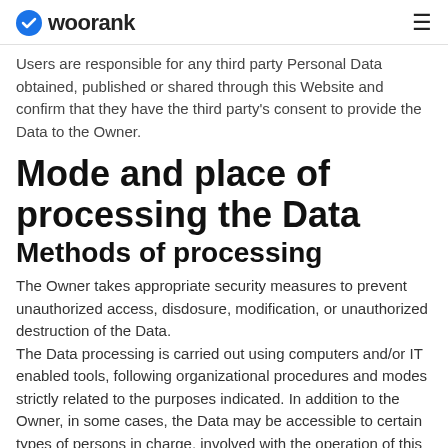woorank
Users are responsible for any third party Personal Data obtained, published or shared through this Website and confirm that they have the third party's consent to provide the Data to the Owner.
Mode and place of processing the Data
Methods of processing
The Owner takes appropriate security measures to prevent unauthorized access, disclosure, modification, or unauthorized destruction of the Data.
The Data processing is carried out using computers and/or IT enabled tools, following organizational procedures and modes strictly related to the purposes indicated. In addition to the Owner, in some cases, the Data may be accessible to certain types of persons in charge, involved with the operation of this